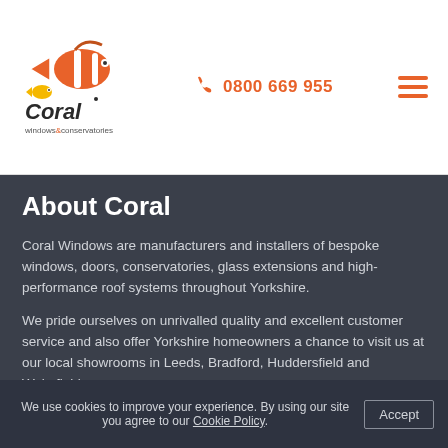[Figure (logo): Coral Windows & Conservatories logo with clownfish graphic above stylized 'Coral' text and 'windows & conservatories' tagline]
0800 669 955
About Coral
Coral Windows are manufacturers and installers of bespoke windows, doors, conservatories, glass extensions and high-performance roof systems throughout Yorkshire.
We pride ourselves on unrivalled quality and excellent customer service and also offer Yorkshire homeowners a chance to visit us at our local showrooms in Leeds, Bradford, Huddersfield and Wakefield.
We use cookies to improve your experience. By using our site you agree to our Cookie Policy. Accept